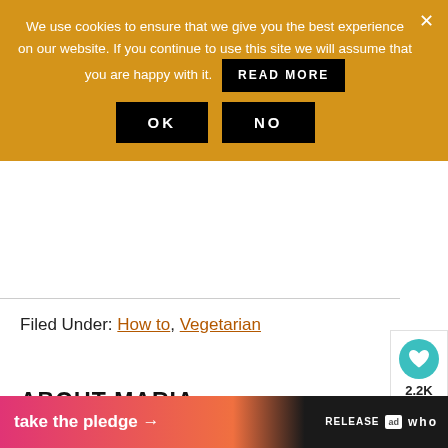We use cookies to ensure that we give you the best experience on our website. If you continue to use this site we will assume that you are happy with it. READ MORE
OK   NO
Filed Under: How to, Vegetarian
[Figure (screenshot): Social share sidebar with heart icon button showing 2.2K likes and a share button]
[Figure (screenshot): What's Next widget showing a thumbnail of Chocolate Filled... recipe]
ABOUT MARIA
M...
[Figure (screenshot): Bottom advertisement banner: take the pledge arrow, Release logo, ad badge, who logo]